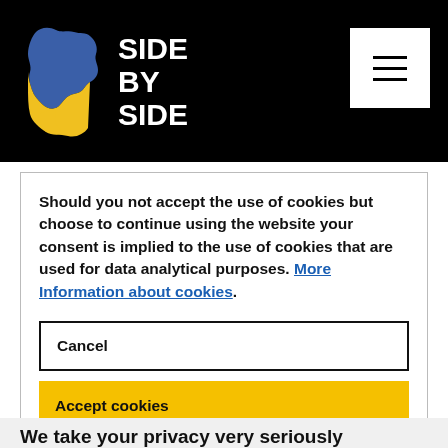[Figure (logo): Side By Side logo with Ukraine-colored map shape (blue and yellow) and white text 'SIDE BY SIDE' on black header bar]
Should you not accept the use of cookies but choose to continue using the website your consent is implied to the use of cookies that are used for data analytical purposes. More Information about cookies.
Cancel
Accept cookies
We take your privacy very seriously